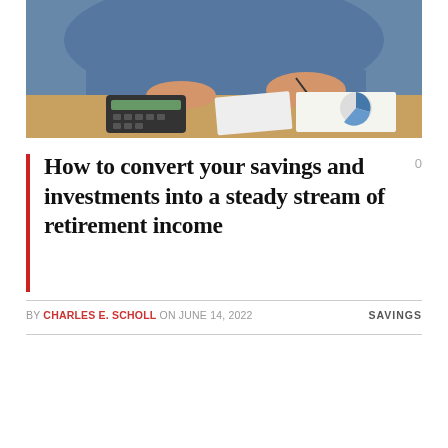[Figure (photo): A person in a blue denim shirt sitting at a desk, writing or calculating with a pen, with a calculator and financial charts/pie chart visible on the desk.]
How to convert your savings and investments into a steady stream of retirement income
BY CHARLES E. SCHOLL ON JUNE 14, 2022   SAVINGS